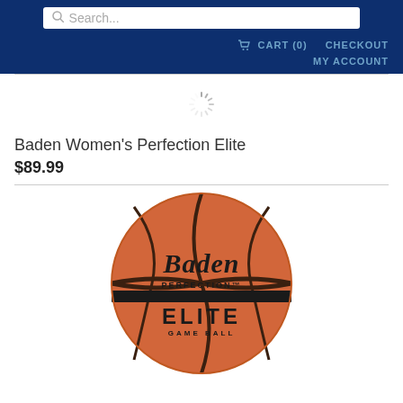Search... | CART (0) | CHECKOUT | MY ACCOUNT
[Figure (screenshot): Loading spinner (circular animated indicator)]
Baden Women's Perfection Elite
$89.99
[Figure (photo): Baden Perfection Elite Game Ball basketball, orange with black seam lines and Baden PERFECTION ELITE GAME BALL branding]